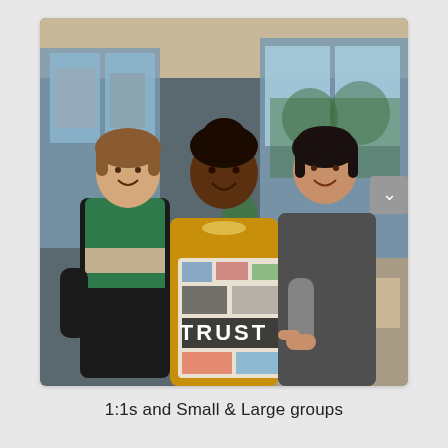[Figure (photo): Three women smiling and posing together in an indoor setting with large windows. The woman in the center is holding a collage board with the word TRUST prominently displayed. The woman on the left wears a green and black dress, the center woman wears a yellow outfit with a beaded necklace, and the woman on the right wears a black top with a gray cardigan and is pointing at the board.]
1:1s and Small & Large groups